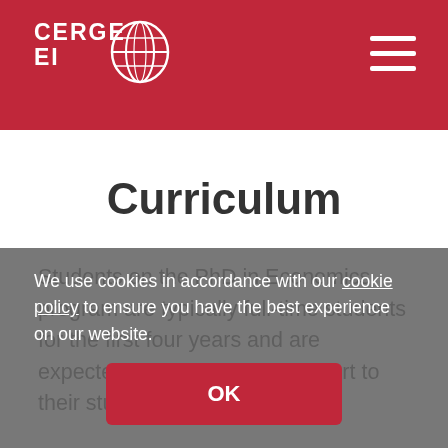CERGE EI
Curriculum
Students on the PhD in Economics program are typically full-time students for the first four years and are expected to devote full-time effort to their study plan.
We use cookies in accordance with our cookie policy to ensure you have the best experience on our website.
OK